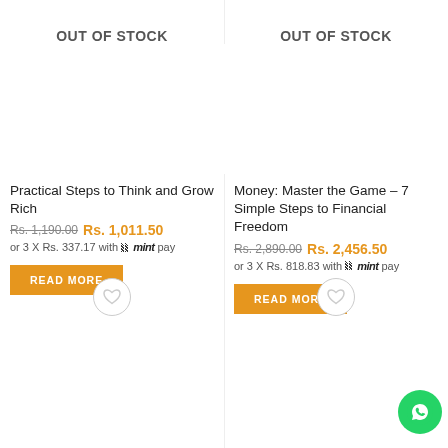OUT OF STOCK
Practical Steps to Think and Grow Rich
Rs. 1,190.00  Rs. 1,011.50
or 3 X Rs. 337.17 with mintpay
READ MORE
OUT OF STOCK
Money: Master the Game – 7 Simple Steps to Financial Freedom
Rs. 2,890.00  Rs. 2,456.50
or 3 X Rs. 818.83 with mintpay
READ MORE